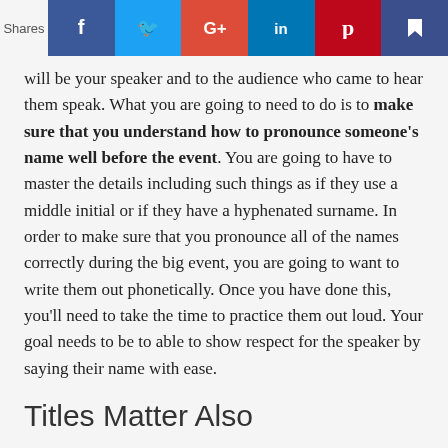[Figure (other): Social sharing bar with Facebook, Twitter, Google+, LinkedIn, Pinterest, and bookmark icons, with a 'Shares' label on the left]
will be your speaker and to the audience who came to hear them speak. What you are going to need to do is to make sure that you understand how to pronounce someone's name well before the event. You are going to have to master the details including such things as if they use a middle initial or if they have a hyphenated surname. In order to make sure that you pronounce all of the names correctly during the big event, you are going to want to write them out phonetically. Once you have done this, you'll need to take the time to practice them out loud. Your goal needs to be to able to show respect for the speaker by saying their name with ease.
Titles Matter Also
If you thought that names were important, just wait until you get to titles. During the event it is going to